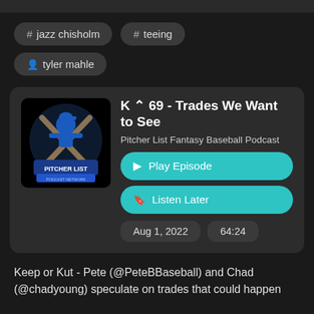# jazz chisholm
# teeing
tyler mahle
K K 69 - Trades We Want to See
Pitcher List Fantasy Baseball Podcast
Play Episode
Listen Later
Aug 1, 2022
64:24
Keep or Kut - Pete (@PeteBBaseball) and Chad (@chadyoung) speculate on trades that could happen